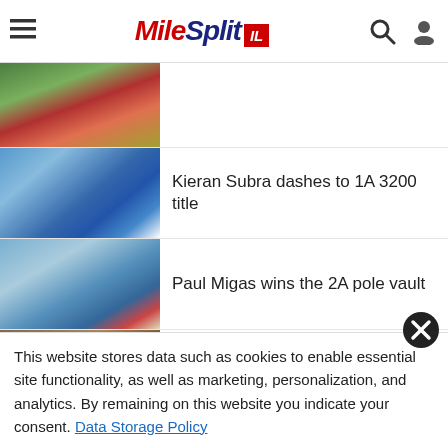MileSplit IL
[Figure (photo): Thumbnail of athlete at track event (partially visible, top of page)]
[Figure (photo): Thumbnail of Kieran Subra, young male athlete in blue singlet touching ear]
Kieran Subra dashes to 1A 3200 title
[Figure (photo): Thumbnail of Paul Migas, male athlete with medal at pole vault event]
Paul Migas wins the 2A pole vault
[Figure (photo): Thumbnail of Kemon McCullough with sunglasses, close-up]
Kemon McCullough is sneaky good in the LJ
This website stores data such as cookies to enable essential site functionality, as well as marketing, personalization, and analytics. By remaining on this website you indicate your consent. Data Storage Policy